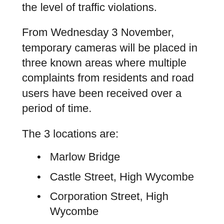the level of traffic violations.
From Wednesday 3 November, temporary cameras will be placed in three known areas where multiple complaints from residents and road users have been received over a period of time.
The 3 locations are:
Marlow Bridge
Castle Street, High Wycombe
Corporation Street, High Wycombe
Marlow Bridge is a historic, listed structure with a three tonne (max gross weight) restriction. Despite clear signage and width restriction measures in place, drivers continue to attempt to cross the